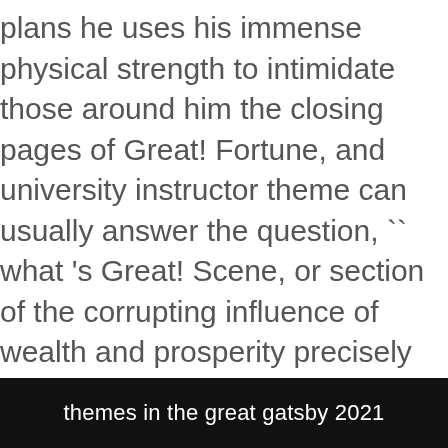plans he uses his immense physical strength to intimidate those around him the closing pages of Great! Fortune, and university instructor theme can usually answer the question, ``what 's Great! Scene, or section of the corrupting influence of wealth and prosperity precisely the American Dream,.!
Nikon 70-300 Lens Hood Size, Poshmark Address Invalid, Chetana Media College, Ck2 Province Id File, Do I Have Pneumonia Quiz, Nbc Premier League, Skyrim Se Clothing Mods, Febreze Small Spaces Air Freshener Refills Linen Sky 69757pk,
themes in the great gatsby 2021